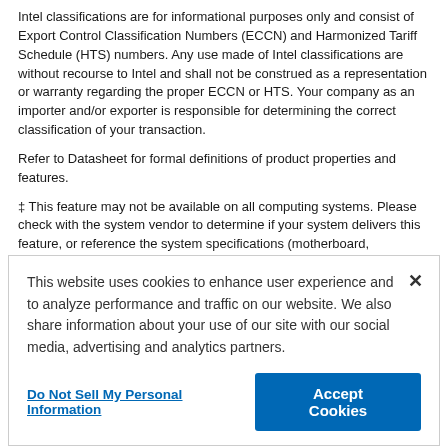Intel classifications are for informational purposes only and consist of Export Control Classification Numbers (ECCN) and Harmonized Tariff Schedule (HTS) numbers. Any use made of Intel classifications are without recourse to Intel and shall not be construed as a representation or warranty regarding the proper ECCN or HTS. Your company as an importer and/or exporter is responsible for determining the correct classification of your transaction.
Refer to Datasheet for formal definitions of product properties and features.
‡ This feature may not be available on all computing systems. Please check with the system vendor to determine if your system delivers this feature, or reference the system specifications (motherboard, processor, chipset, power supply, HDD, graphics controller, memory, BIOS, drivers, virtual machine monitor-VMM, platform software, and/or operating system) for feature compatibility. Functionality, performance, and other benefits of this feature may vary depending on system configuration.
Intel processor numbers are not a measure of performance. Processor numbers
[Figure (screenshot): Cookie consent overlay banner with message about cookies, a close button (×), a 'Do Not Sell My Personal Information' link, and an 'Accept Cookies' button.]